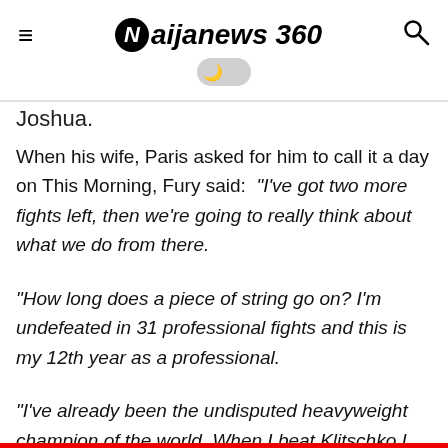Naijanews 360
Joshua.
When his wife, Paris asked for him to call it a day on This Morning, Fury said: "I've got two more fights left, then we're going to really think about what we do from there.
"How long does a piece of string go on? I'm undefeated in 31 professional fights and this is my 12th year as a professional.
"I've already been the undisputed heavyweight champion of the world. When I beat Klitschko I had